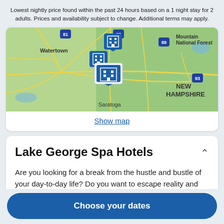Lowest nightly price found within the past 24 hours based on a 1 night stay for 2 adults. Prices and availability subject to change. Additional terms may apply.
[Figure (map): Map showing the Saratoga/Lake George area of New York/New Hampshire with hotel pin markers clustered near Saratoga, road networks visible, labels for Watertown, Mountain National Forest, NEW HAMPSHIRE, and interstate markers 81, 87, 89, 93.]
Show map
Lake George Spa Hotels
Are you looking for a break from the hustle and bustle of your day-to-day life? Do you want to escape reality and forget about your never ending to-do list? Then why not treat yourself to a relaxing stay at one of the spa hotels in Lake George? Whether it is for a weekend getaway or a staycation, book your visit to
Choose your dates